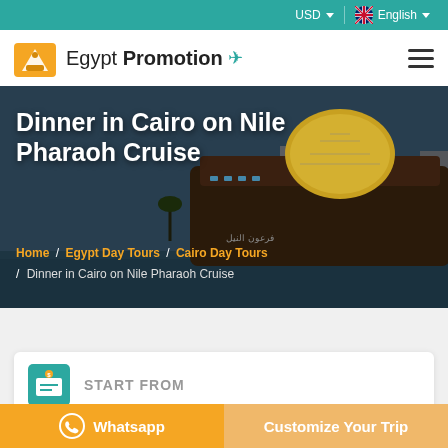USD  English
[Figure (logo): Egypt Promotion logo with orange pyramid/sphinx icon and airplane]
[Figure (photo): Nile Pharaoh cruise ship at night, large ornate boat on the Nile river with city buildings visible]
Dinner in Cairo on Nile Pharaoh Cruise
Home / Egypt Day Tours / Cairo Day Tours / Dinner in Cairo on Nile Pharaoh Cruise
START FROM
Whatsapp
Customize Your Trip